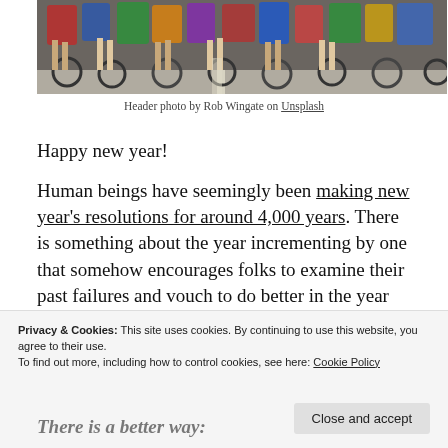[Figure (photo): Photo of a group of cyclists racing on a road, showing legs, wheels, and colorful cycling gear from a low angle.]
Header photo by Rob Wingate on Unsplash
Happy new year!
Human beings have seemingly been making new year’s resolutions for around 4,000 years. There is something about the year incrementing by one that somehow encourages folks to examine their past failures and vouch to do better in the year ahead.
Privacy & Cookies: This site uses cookies. By continuing to use this website, you agree to their use.
To find out more, including how to control cookies, see here: Cookie Policy
There is a better way: